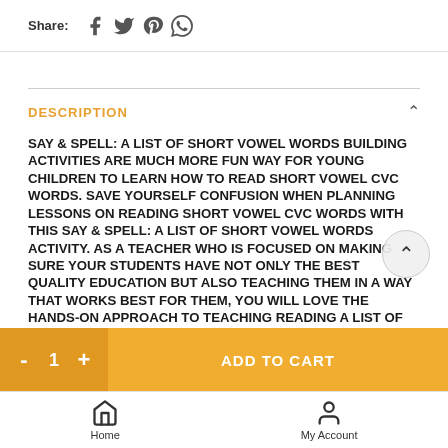Share:
DESCRIPTION
SAY & SPELL: A LIST OF SHORT VOWEL WORDS BUILDING ACTIVITIES ARE MUCH MORE FUN WAY FOR YOUNG CHILDREN TO LEARN HOW TO READ SHORT VOWEL CVC WORDS. SAVE YOURSELF CONFUSION WHEN PLANNING LESSONS ON READING SHORT VOWEL CVC WORDS WITH THIS SAY & SPELL: A LIST OF SHORT VOWEL WORDS ACTIVITY. AS A TEACHER WHO IS FOCUSED ON MAKING SURE YOUR STUDENTS HAVE NOT ONLY THE BEST QUALITY EDUCATION BUT ALSO TEACHING THEM IN A WAY THAT WORKS BEST FOR THEM, YOU WILL LOVE THE HANDS-ON APPROACH TO TEACHING READING A LIST OF SHORT VOWEL WORDS. USE THESE DURING SMALL GROUPS, CENTERS OR INDEPENDENT LEARNING TIME TO MAKE SURE YOUR STUDENTS ARE ON
ADD TO CART
Home
My Account